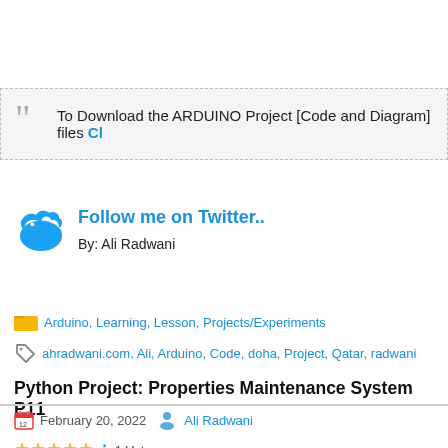To Download the ARDUINO Project [Code and Diagram] files Cl...
Follow me on Twitter..
By: Ali Radwani
Arduino, Learning, Lesson, Projects/Experiments
ahradwani.com, Ali, Arduino, Code, doha, Project, Qatar, radwani
Python Project: Properties Maintenance System P11
February 20, 2022   Ali Radwani
★★★★★ ℹ 1 Vote
Subject: Writing a Full Application for Properties Maintenance Request]